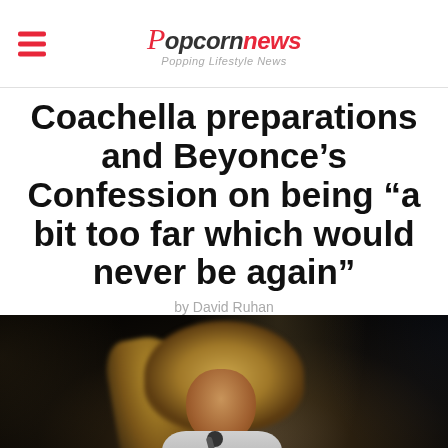Popcornews — Popping Lifestyle News
Coachella preparations and Beyonce’s Confession on being “a bit too far which would never be again”
by David Ruhan
[Figure (photo): Beyonce performing on stage in a white outfit, holding a microphone, with dark concert lighting and her blonde curly hair visible]